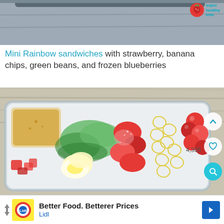[Figure (photo): Top portion of a food/recipe website screenshot showing a cropped food photo with a 'super healthy kids' logo badge in the top right corner]
Mini Rainbow sandwiches with strawberry, banana chips, green beans, and frozen blueberries
[Figure (photo): A bento-style lunch box with colorful food items: a small container of dressing, hard-boiled egg slices, strawberries, macaroni pasta, cherry tomatoes, and leafy greens. UI overlay buttons on the right edge showing an up arrow, a heart icon, and a teal search/magnify icon. A number '4,305' is partially visible.]
Better Food. Betterer Prices Lidl